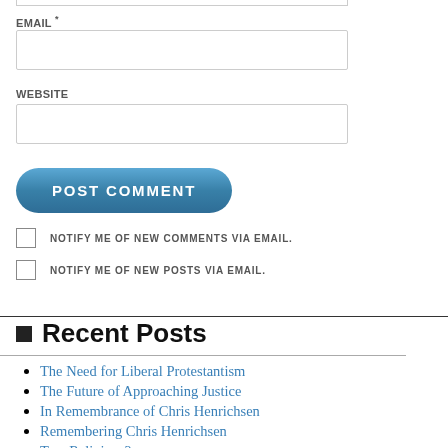EMAIL *
WEBSITE
POST COMMENT
NOTIFY ME OF NEW COMMENTS VIA EMAIL.
NOTIFY ME OF NEW POSTS VIA EMAIL.
Recent Posts
The Need for Liberal Protestantism
The Future of Approaching Justice
In Remembrance of Chris Henrichsen
Remembering Chris Henrichsen
Two Religions?